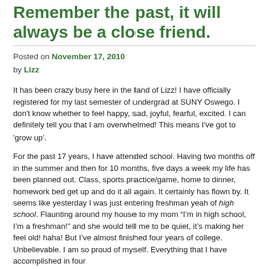Remember the past, it will always be a close friend.
Posted on November 17, 2010
by Lizz
It has been crazy busy here in the land of Lizz! I have officially registered for my last semester of undergrad at SUNY Oswego. I don't know whether to feel happy, sad, joyful, fearful, excited. I can definitely tell you that I am overwhelmed! This means I've got to 'grow up'.
For the past 17 years, I have attended school. Having two months off in the summer and then for 10 months, five days a week my life has been planned out. Class, sports practice/game, home to dinner, homework bed get up and do it all again. It certainly has flown by. It seems like yesterday I was just entering freshman yeah of high school. Flaunting around my house to my mom “I’m in high school, I’m a freshman!” and she would tell me to be quiet, it’s making her feel old! haha! But I’ve almost finished four years of college. Unbelievable. I am so proud of myself. Everything that I have accomplished in four